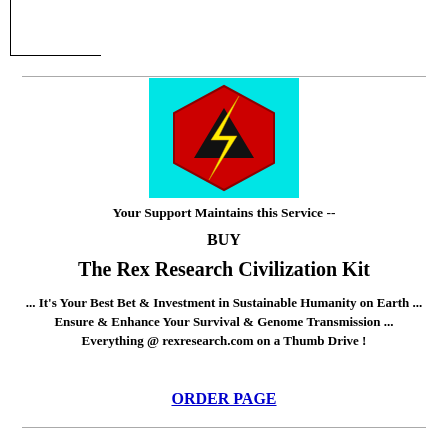[Figure (logo): Rex Research logo: red hexagon with yellow lightning bolt on cyan background]
Your Support Maintains this Service --
BUY
The Rex Research Civilization Kit
... It's Your Best Bet & Investment in Sustainable Humanity on Earth ... Ensure & Enhance Your Survival & Genome Transmission ... Everything @ rexresearch.com on a Thumb Drive !
ORDER PAGE